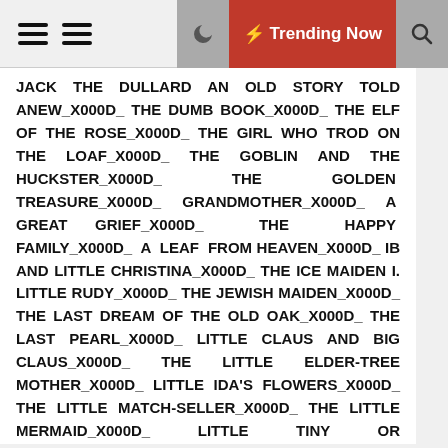[Navigation bar with hamburger menus, moon icon, Trending Now button, and search icon]
JACK THE DULLARD AN OLD STORY TOLD ANEW_x000D_ THE DUMB BOOK_x000D_ THE ELF OF THE ROSE_x000D_ THE GIRL WHO TROD ON THE LOAF_x000D_ THE GOBLIN AND THE HUCKSTER_x000D_ THE GOLDEN TREASURE_x000D_ GRANDMOTHER_x000D_ A GREAT GRIEF_x000D_ THE HAPPY FAMILY_x000D_ A LEAF FROM HEAVEN_x000D_ IB AND LITTLE CHRISTINA_x000D_ THE ICE MAIDEN I. LITTLE RUDY_x000D_ THE JEWISH MAIDEN_x000D_ THE LAST DREAM OF THE OLD OAK_x000D_ THE LAST PEARL_x000D_ LITTLE CLAUS AND BIG CLAUS_x000D_ THE LITTLE ELDER-TREE MOTHER_x000D_ LITTLE IDA'S FLOWERS_x000D_ THE LITTLE MATCH-SELLER_x000D_ THE LITTLE MERMAID_x000D_ LITTLE TINY OR THUMBELINA_x000D_ THE LOVELIEST ROSE IN THE WORLD_x000D_ THE MAIL-COACH PASSENGERS_x000D_ THE MARSH KING'S DAUGHTER_x000D_ THE METAL PIG_x000D_ THE MONEY-BOX_x000D_ WHAT THE MOON SAW INTRODUCTION_x000D_ THE NEIGHBOURING FAMILIES_x000D_ THE NIGHTINGALE_x000D_ THERE IS NO DOUBT ABOUT IT_x000D_ THE OLD BACHELOR'S NIGHTCAP_x000D_ THE OLD GRAVE-STONE_x000D_ THE OLD HOUSE_x000D_ WHAT THE OLD MAN DOES IS ALWAYS RIGHT_x000D_ THE OLD STREET LAMP_x000D_ OLE-LUK-OIE, THE DREAM GOD_x000D_ OLE THE TOWER KEEPER_x000D_ THE